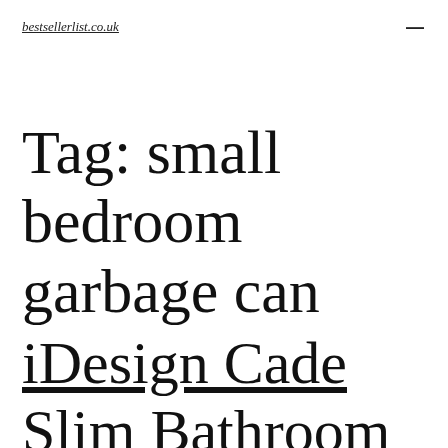bestsellerlist.co.uk
Tag: small bedroom garbage can
iDesign Cade Slim Bathroom Trash,